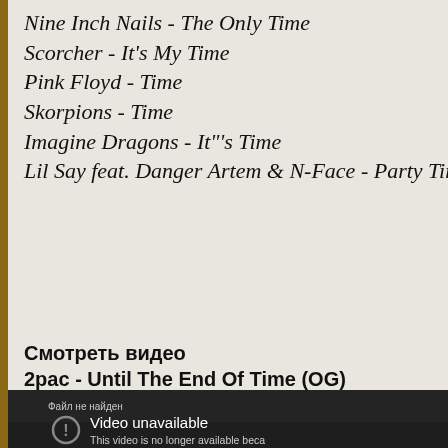Nine Inch Nails - The Only Time
Scorcher - It's My Time
Pink Floyd - Time
Skorpions - Time
Imagine Dragons - It"'s Time
Lil Say feat. Danger Artem & N-Face - Party Time All The Tim
Смотреть видео
2pac - Until The End Of Time (OG)
[Figure (screenshot): Video player showing 'Video unavailable' error. Top bar shows 'Файл не найден'. Center shows a circle with exclamation mark icon and text 'Video unavailable'. Below: 'This video is no longer available beca... account associated with this video ha...']